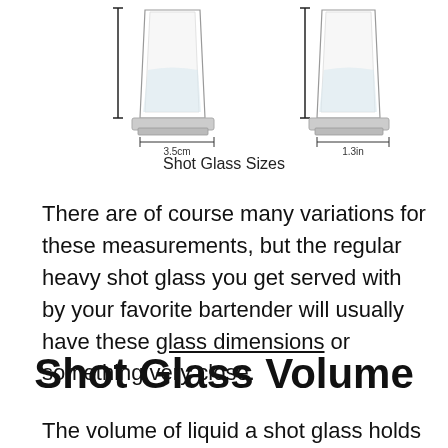[Figure (illustration): Two shot glasses shown with dimension measurements. Left glass labeled 3.5cm width, right glass labeled 1.3in width. Both shown with vertical height lines on the left side.]
Shot Glass Sizes
There are of course many variations for these measurements, but the regular heavy shot glass you get served with by your favorite bartender will usually have these glass dimensions or something very close.
Shot Glass Volume
The volume of liquid a shot glass holds is the